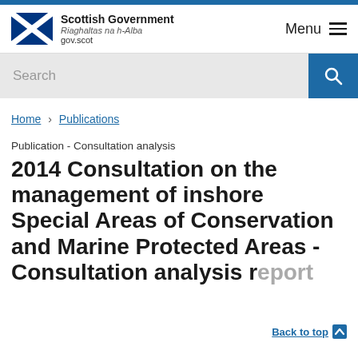[Figure (logo): Scottish Government logo with Saltire flag and text: Scottish Government, Riaghaltas na h-Alba, gov.scot]
Menu
Search
Home › Publications
Publication - Consultation analysis
2014 Consultation on the management of inshore Special Areas of Conservation and Marine Protected Areas - Consultation analysis report